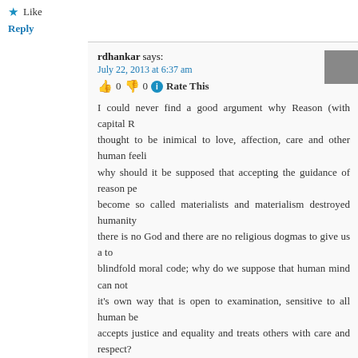★ Like
Reply
rdhankar says: July 22, 2013 at 6:37 am 👍 0 👎 0 ℹ Rate This
I could never find a good argument why Reason (with capital R) should be thought to be inimical to love, affection, care and other human feelings... why should it be supposed that accepting the guidance of reasonpers... become so called materialists and materialism destroyed humanity... there is no God and there are no religious dogmas to give us a to... blindfold moral code; why do we suppose that human mind can not... it's own way that is open to examination, sensitive to all human bei... accepts justice and equality and treats others with care and respect?
★ Like
Reply
samir says: July 20, 2013 at 9:52 am 👍 0 👎 0 ℹ Rate This
Now I have to really think study of various religions shud be part of curricul... not? why I want to teach dogmas to children. 2. mid path also looks danger... there r chances that human awareness could dampen if he/she relies on dogm... inquired truth.